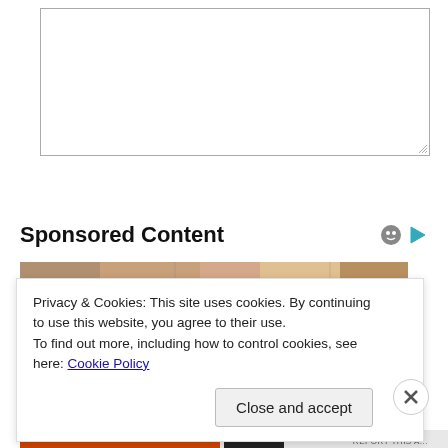[Figure (screenshot): Text area input box for comment or message entry, with resize handle at bottom-right corner]
Submit
Sponsored Content
[Figure (photo): Partial view of a sponsored content image strip showing blurred/cropped photo]
Privacy & Cookies: This site uses cookies. By continuing to use this website, you agree to their use.
To find out more, including how to control cookies, see here: Cookie Policy
Close and accept